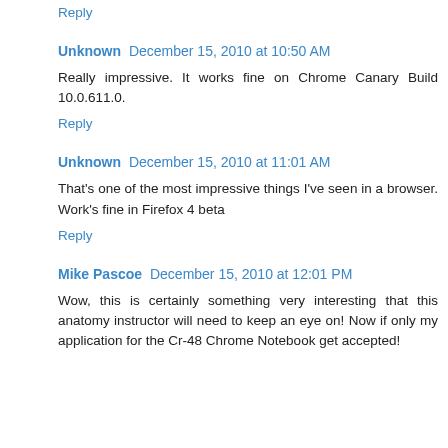Reply
Unknown  December 15, 2010 at 10:50 AM
Really impressive. It works fine on Chrome Canary Build 10.0.611.0.
Reply
Unknown  December 15, 2010 at 11:01 AM
That's one of the most impressive things I've seen in a browser. Work's fine in Firefox 4 beta
Reply
Mike Pascoe  December 15, 2010 at 12:01 PM
Wow, this is certainly something very interesting that this anatomy instructor will need to keep an eye on! Now if only my application for the Cr-48 Chrome Notebook get accepted!